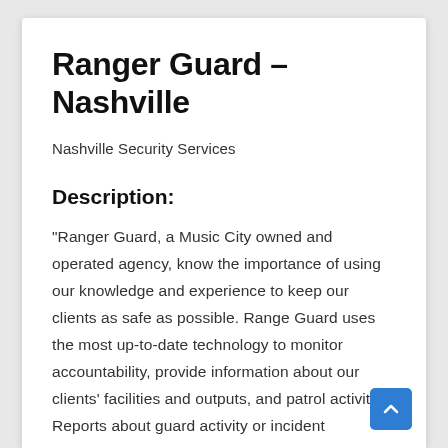Ranger Guard – Nashville
Nashville Security Services
Description:
"Ranger Guard, a Music City owned and operated agency, know the importance of using our knowledge and experience to keep our clients as safe as possible. Range Guard uses the most up-to-date technology to monitor accountability, provide information about our clients' facilities and outputs, and patrol activity. Reports about guard activity or incident management can be submitted to the client daily or weekly."